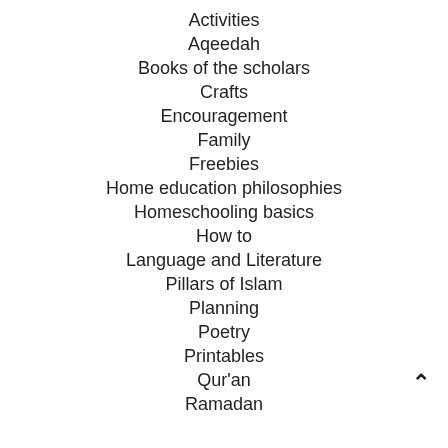Activities
Aqeedah
Books of the scholars
Crafts
Encouragement
Family
Freebies
Home education philosophies
Homeschooling basics
How to
Language and Literature
Pillars of Islam
Planning
Poetry
Printables
Qur'an
Ramadan